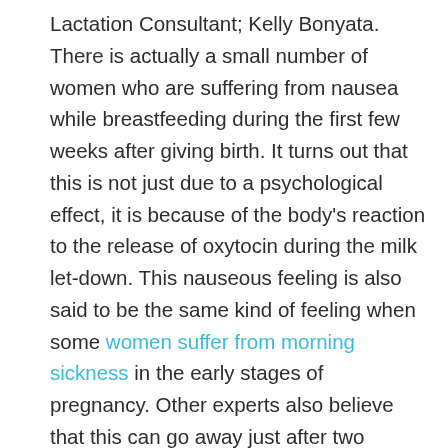Lactation Consultant; Kelly Bonyata. There is actually a small number of women who are suffering from nausea while breastfeeding during the first few weeks after giving birth. It turns out that this is not just due to a psychological effect, it is because of the body's reaction to the release of oxytocin during the milk let-down. This nauseous feeling is also said to be the same kind of feeling when some women suffer from morning sickness in the early stages of pregnancy. Other experts also believe that this can go away just after two months of giving birth. But, that is usually not the case for everyone since there might be other reasons behind it.